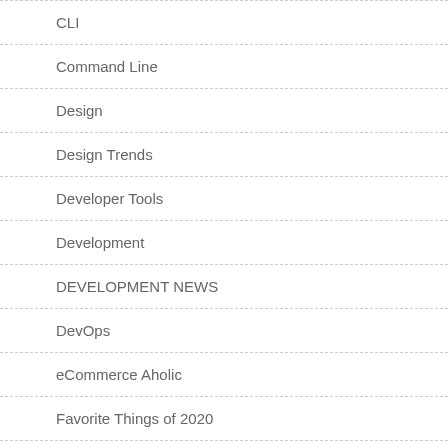CLI
Command Line
Design
Design Trends
Developer Tools
Development
DEVELOPMENT NEWS
DevOps
eCommerce Aholic
Favorite Things of 2020